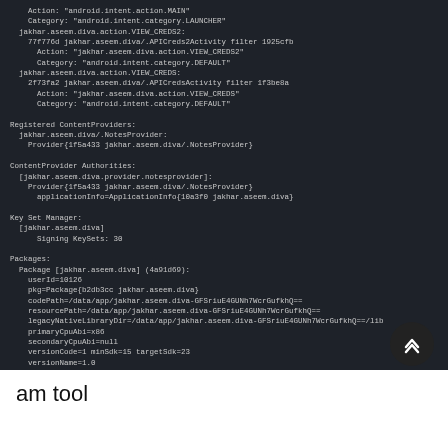[Figure (screenshot): Dark terminal/console screenshot showing Android package manager dump output including intent actions, ContentProviders, Key Set Manager, and Packages sections with details about jakhar.aseem.diva app.]
am tool